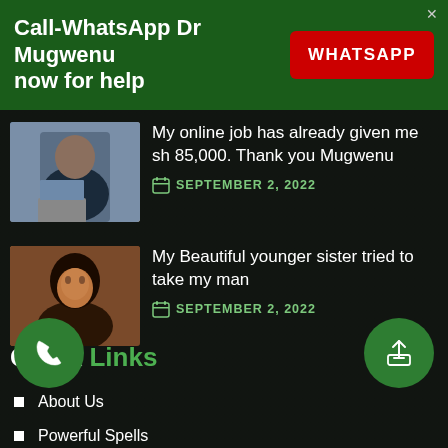Call-WhatsApp Dr Mugwenu now for help
WHATSAPP
My online job has already given me sh 85,000. Thank you Mugwenu
SEPTEMBER 2, 2022
My Beautiful younger sister tried to take my man
SEPTEMBER 2, 2022
Quick Links
About Us
Powerful Spells
Rings
Traditional Herbs